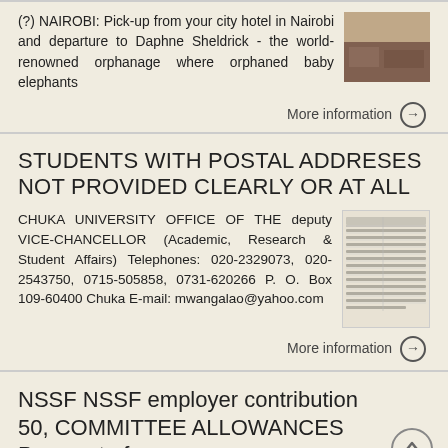(?) NAIROBI: Pick-up from your city hotel in Nairobi and departure to Daphne Sheldrick - the world-renowned orphanage where orphaned baby elephants
More information →
STUDENTS WITH POSTAL ADDRESES NOT PROVIDED CLEARLY OR AT ALL
CHUKA UNIVERSITY OFFICE OF THE deputy VICE-CHANCELLOR (Academic, Research & Student Affairs) Telephones: 020-2329073, 020-2543750, 0715-505858, 0731-620266 P. O. Box 109-60400 Chuka E-mail: mwangalao@yahoo.com
[Figure (photo): Document with table/list thumbnail]
More information →
NSSF NSSF employer contribution 50, COMMITTEE ALLOWANCES Payment of